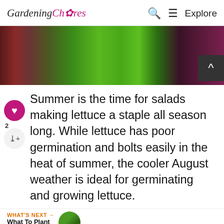Gardening Chores — Q Search ≡ Explore
[Figure (photo): Close-up photo of red and green lettuce leaves growing in a garden]
Summer is the time for salads making lettuce a staple all season long. While lettuce has poor germination and bolts easily in the heat of summer, the cooler August weather is ideal for germinating and growing lettuce.
WHAT'S NEXT → What To Plant In July: 23...
ADVERTISEMENT
Pop in & Shop New Arrivals World Market